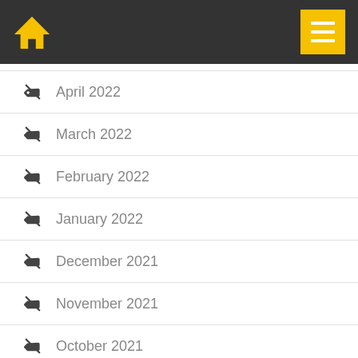Home menu
April 2022
March 2022
February 2022
January 2022
December 2021
November 2021
October 2021
September 2021